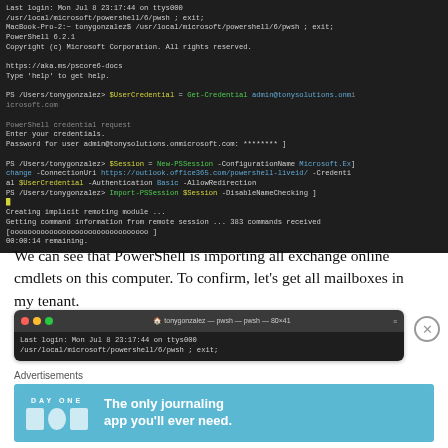[Figure (screenshot): Terminal window showing PowerShell session on macOS: login message, PowerShell 6.2.1 startup, credential request, New-PSSession command connecting to Exchange Online, Import-PSSession running, creating implicit remoting module, receiving 383 commands.]
We can see that PowerShell is importing all exchange online cmdlets on this computer. To confirm, let's get all mailboxes in my tenant.
[Figure (screenshot): Partial terminal window titled tonygonzalez — pwsh — pwsh — 80x41, showing last login and start of pwsh command.]
Advertisements
[Figure (illustration): Day One journaling app advertisement banner with text: The only journaling app you'll ever need.]